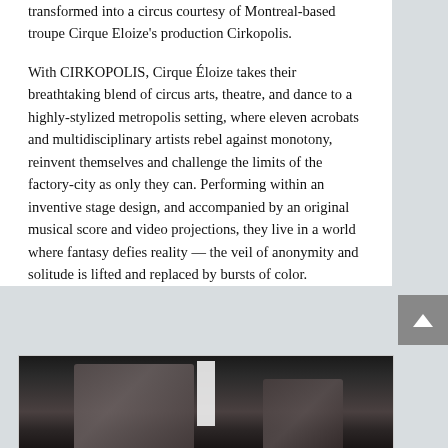transformed into a circus courtesy of Montreal-based troupe Cirque Eloize's production Cirkopolis.
With CIRKOPOLIS, Cirque Éloize takes their breathtaking blend of circus arts, theatre, and dance to a highly-stylized metropolis setting, where eleven acrobats and multidisciplinary artists rebel against monotony, reinvent themselves and challenge the limits of the factory-city as only they can. Performing within an inventive stage design, and accompanied by an original musical score and video projections, they live in a world where fantasy defies reality — the veil of anonymity and solitude is lifted and replaced by bursts of color.
[Figure (photo): Performance photo of circus artists on stage with dark background, a white rectangular prop in the center, performers in costume appearing to be mid-act]